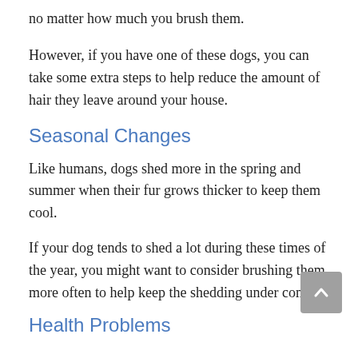no matter how much you brush them.
However, if you have one of these dogs, you can take some extra steps to help reduce the amount of hair they leave around your house.
Seasonal Changes
Like humans, dogs shed more in the spring and summer when their fur grows thicker to keep them cool.
If your dog tends to shed a lot during these times of the year, you might want to consider brushing them more often to help keep the shedding under control.
Health Problems